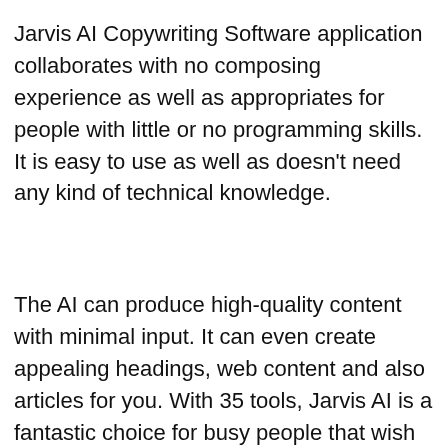Jarvis AI Copywriting Software application collaborates with no composing experience as well as appropriates for people with little or no programming skills. It is easy to use as well as doesn't need any kind of technical knowledge.
The AI can produce high-quality content with minimal input. It can even create appealing headings, web content and also articles for you. With 35 tools, Jarvis AI is a fantastic choice for busy people that wish to boost their writing skills.
You can even work with a copywriter to write a couple of